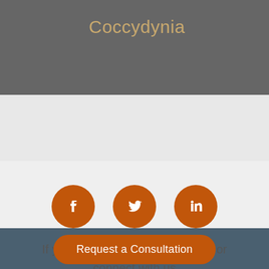Coccydynia
[Figure (infographic): Three orange circular social media icons: Facebook (f), Twitter (bird), LinkedIn (in)]
If you find our site helpful, follow or connect with us
Request a Consultation